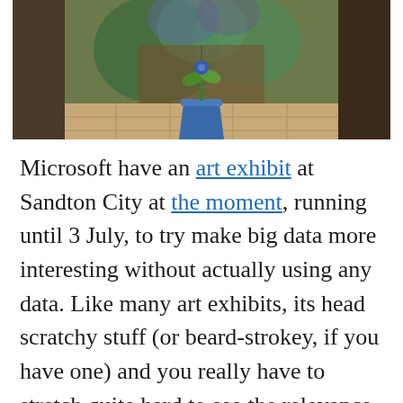[Figure (photo): A photo showing a blue flower pot with a plant on a tiled floor, centered between dark curtains with a colorful painted or printed backdrop behind it.]
Microsoft have an art exhibit at Sandton City at the moment, running until 3 July, to try make big data more interesting without actually using any data. Like many art exhibits, its head scratchy stuff (or beard-strokey, if you have one) and you really have to stretch quite hard to see the relevance. In the context of what they were doing, I am disappointed in the execution of the art itself. While the exhibit is about Big Data and the